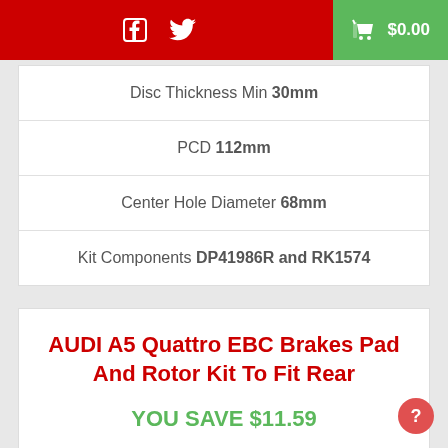Facebook Twitter Cart $0.00
| Disc Thickness Min 30mm |
| PCD 112mm |
| Center Hole Diameter 68mm |
| Kit Components DP41986R and RK1574 |
AUDI A5 Quattro EBC Brakes Pad And Rotor Kit To Fit Rear
YOU SAVE $11.59